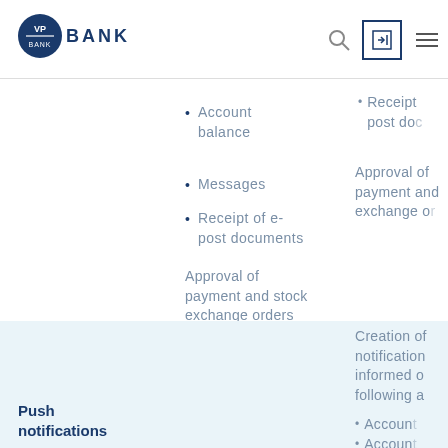VP BANK
Account balance
Messages
Receipt of e-post documents
Approval of payment and stock exchange orders
Receipt of e-post do...
Approval of payment and exchange o...
Creation of notifications informed of following a...
Accoun...
Accoun...
Messagi...
Receip...
Push notifications